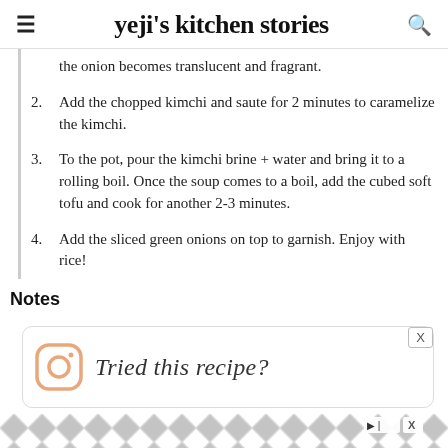yeji's kitchen stories
the onion becomes translucent and fragrant.
2. Add the chopped kimchi and saute for 2 minutes to caramelize the kimchi.
3. To the pot, pour the kimchi brine + water and bring it to a rolling boil. Once the soup comes to a boil, add the cubed soft tofu and cook for another 2-3 minutes.
4. Add the sliced green onions on top to garnish. Enjoy with rice!
Notes
[Figure (other): Instagram icon with cursive text 'Tried this recipe?' and a close X button]
[Figure (other): Advertisement banner with chevron/diamond pattern background and play/close icons]